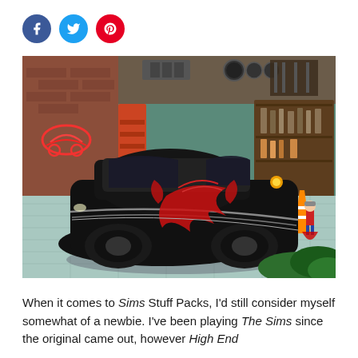[Figure (screenshot): Screenshot of The Sims game showing a black muscle car with red flame/dragon artwork on the hood, parked in a garage with brick walls, tool cabinets, and a small Sim character visible in the background.]
When it comes to Sims Stuff Packs, I'd still consider myself somewhat of a newbie. I've been playing The Sims since the original came out, however High End